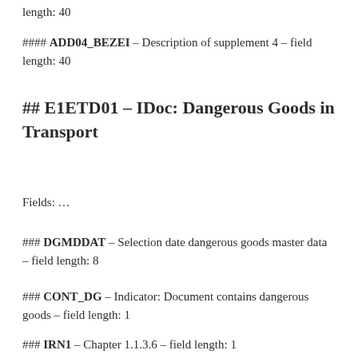length: 40
#### ADD04_BEZEI – Description of supplement 4 – field length: 40
## E1ETD01 – IDoc: Dangerous Goods in Transport
Fields: …
### DGMDDAT – Selection date dangerous goods master data – field length: 8
### CONT_DG – Indicator: Document contains dangerous goods – field length: 1
### IRN1 – Chapter 1.1.3.6 – field length: 1